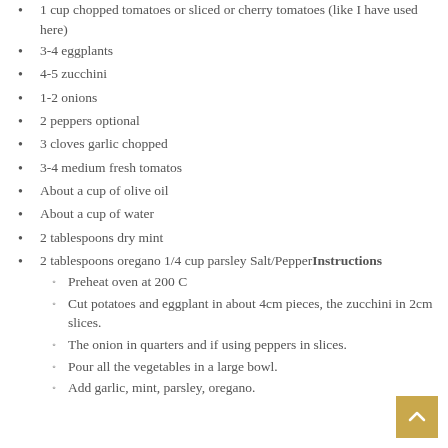1 cup chopped tomatoes or sliced or cherry tomatoes (like I have used here)
3-4 eggplants
4-5 zucchini
1-2 onions
2 peppers optional
3 cloves garlic chopped
3-4 medium fresh tomatos
About a cup of olive oil
About a cup of water
2 tablespoons dry mint
2 tablespoons oregano 1/4 cup parsley Salt/PepperInstructions
Preheat oven at 200 C
Cut potatoes and eggplant in about 4cm pieces, the zucchini in 2cm slices.
The onion in quarters and if using peppers in slices.
Pour all the vegetables in a large bowl.
Add garlic, mint, parsley, oregano.